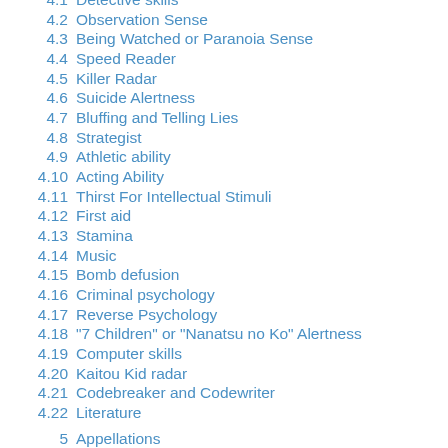4.1  Detective skills
4.2  Observation Sense
4.3  Being Watched or Paranoia Sense
4.4  Speed Reader
4.5  Killer Radar
4.6  Suicide Alertness
4.7  Bluffing and Telling Lies
4.8  Strategist
4.9  Athletic ability
4.10  Acting Ability
4.11  Thirst For Intellectual Stimuli
4.12  First aid
4.13  Stamina
4.14  Music
4.15  Bomb defusion
4.16  Criminal psychology
4.17  Reverse Psychology
4.18  "7 Children" or "Nanatsu no Ko" Alertness
4.19  Computer skills
4.20  Kaitou Kid radar
4.21  Codebreaker and Codewriter
4.22  Literature
5  Appellations